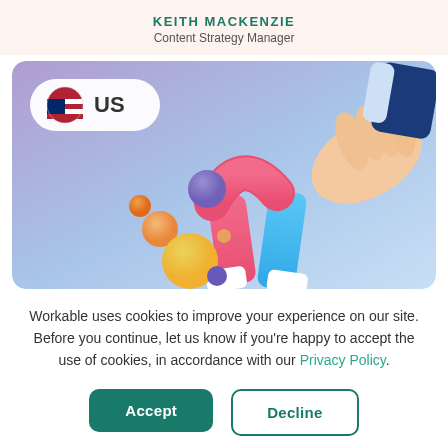KEITH MACKENZIE
Content Strategy Manager
[Figure (illustration): Illustration of a hand holding a horseshoe magnet (pink and blue) attracting colorful spheres, on a purple-to-light-blue gradient background. Top left shows a US flag emoji and 'US' label in a white rounded badge.]
Workable uses cookies to improve your experience on our site. Before you continue, let us know if you're happy to accept the use of cookies, in accordance with our Privacy Policy.
Accept
Decline